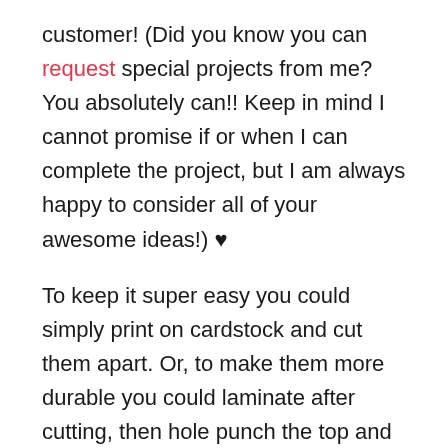customer! (Did you know you can request special projects from me? You absolutely can!! Keep in mind I cannot promise if or when I can complete the project, but I am always happy to consider all of your awesome ideas!) ♥
To keep it super easy you could simply print on cardstock and cut them apart. Or, to make them more durable you could laminate after cutting, then hole punch the top and add a cord or tassel to dress them up a bit more!